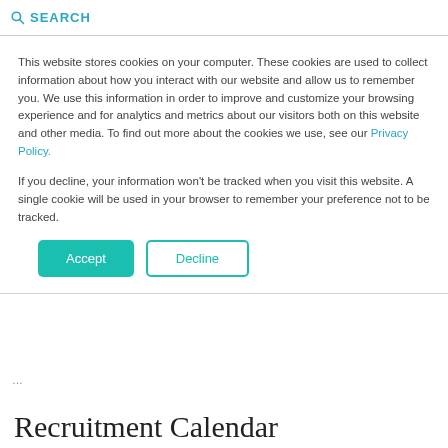SEARCH
This website stores cookies on your computer. These cookies are used to collect information about how you interact with our website and allow us to remember you. We use this information in order to improve and customize your browsing experience and for analytics and metrics about our visitors both on this website and other media. To find out more about the cookies we use, see our Privacy Policy.
If you decline, your information won't be tracked when you visit this website. A single cookie will be used in your browser to remember your preference not to be tracked.
Accept   Decline
Recruitment Calendar